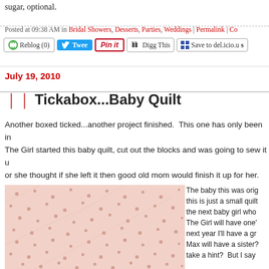sugar, optional.
Posted at 09:38 AM in Bridal Showers, Desserts, Parties, Weddings | Permalink | Co...
[Figure (screenshot): Social sharing buttons: Reblog (0), Tweet, Pin it, Digg This, Save to del.icio.us]
July 19, 2010
Tickabox...Baby Quilt
Another boxed ticked...another project finished. This one has only been in... The Girl started this baby quilt, cut out the blocks and was going to sew it u... or she thought if she left it then good old mom would finish it up for her. Sh... old mom DID sew it up but not for her!
[Figure (photo): Close-up photo of a pink baby quilt fabric with small dot pattern]
The baby this was orig... this is just a small quilt... the next baby girl who... The Girl will have one'... next year I'll have a gr... Max will have a sister?... take a hint? But I say...
Different pink fabrics w... so soft! This is my f...